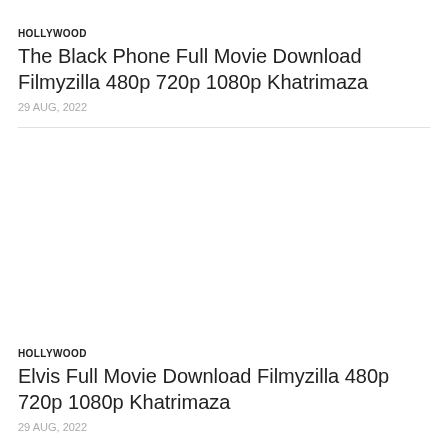HOLLYWOOD
The Black Phone Full Movie Download Filmyzilla 480p 720p 1080p Khatrimaza
29 AUG, 2022
HOLLYWOOD
Elvis Full Movie Download Filmyzilla 480p 720p 1080p Khatrimaza
29 AUG, 2022